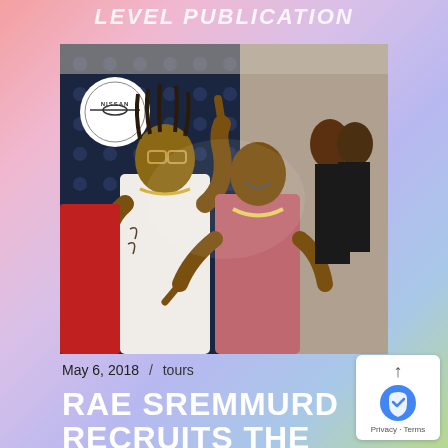LEVEL PUBLICATION
[Figure (photo): Two young men posing at what appears to be a BET Awards event with a Nissan sponsor backdrop. The man on the left wears a white t-shirt with tattoos and glasses, making a hand gesture. The man on the right wears a pink/red graphic t-shirt with a chain necklace, smiling. Both are pointing at the camera. A woman in a black outfit is visible in the background on the right.]
May 6, 2018  /  tours
RAE SREMMURD RECRUITS THE